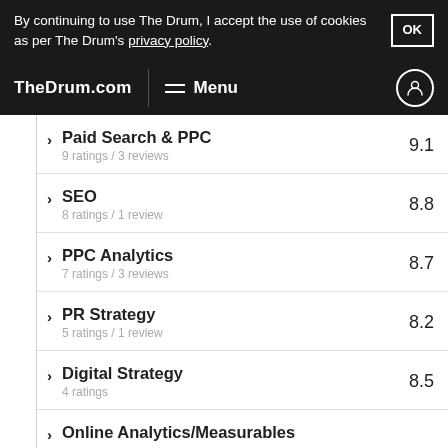By continuing to use The Drum, I accept the use of cookies as per The Drum's privacy policy.
TheDrum.com  Menu
Paid Search & PPC
9 ratings / 3 reviews
9.1
SEO
8 ratings / 1 review
8.8
PPC Analytics
7 ratings / 3 reviews
8.7
PR Strategy
5 ratings / 1 review
8.2
Digital Strategy
4 ratings
8.5
Online Analytics/Measurables